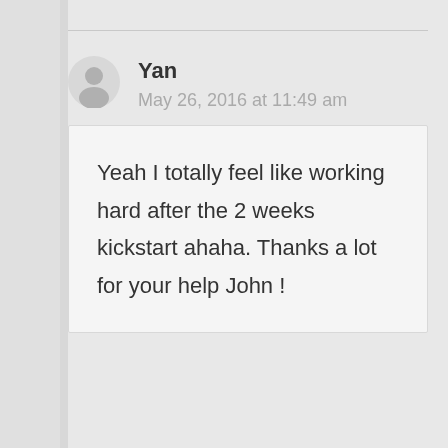Yan
May 26, 2016 at 11:49 am
Yeah I totally feel like working hard after the 2 weeks kickstart ahaha. Thanks a lot for your help John !